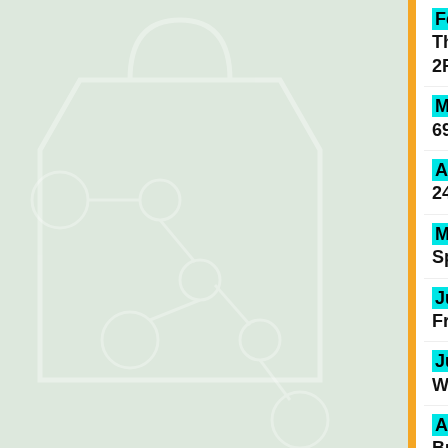[Figure (illustration): Light green/grey background panel on the left side with a faint white bag/circle network diagram overlaid]
February is the 7th... The Kettle at 22nd St 2PM
March LUNDIN will b... 6958 E. TanqueVerde...
April LUNDIN will be... 24th at 2PM
May LUNDIN will be... Speedway Blvd., Fri...
June LUNDIN will be... Friday, June 26th at...
July LUNDIN will be... Wetmore, Friday, Jul...
August LUNDIN will... Buffet at 5101 Oracle...
September LUNDIN w...